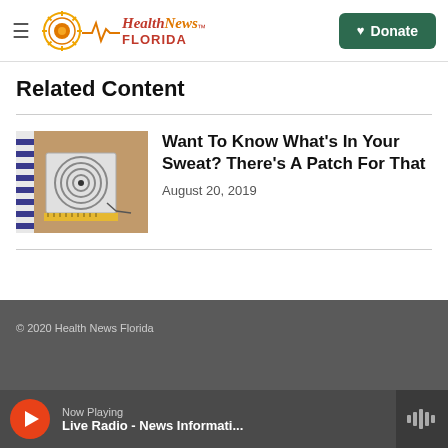Health News Florida — Donate
Related Content
[Figure (photo): A skin patch device with spiral coil pattern applied to a person's skin, with white straps visible — a sweat analysis sensor patch.]
Want To Know What's In Your Sweat? There's A Patch For That
August 20, 2019
© 2020 Health News Florida
Now Playing
Live Radio - News Informati...